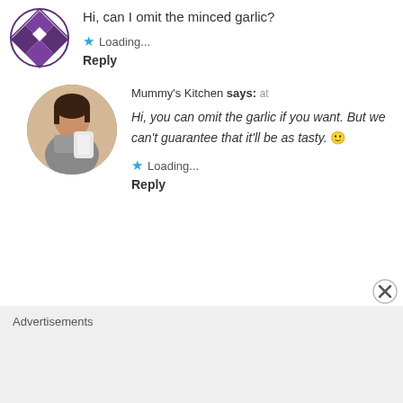Hi, can I omit the minced garlic?
Loading...
Reply
[Figure (photo): Round avatar photo of Mummy's Kitchen author, a person holding items, circular crop]
Mummy's Kitchen says: at
Hi, you can omit the garlic if you want. But we can't guarantee that it'll be as tasty. 🙂
Loading...
Reply
Advertisements